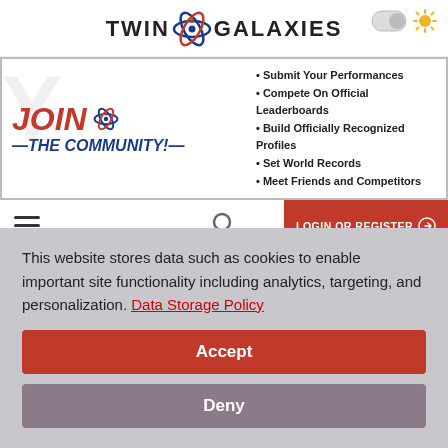[Figure (logo): Twin Galaxies logo with atom icon, sun/moon toggle and sun icon in top right]
[Figure (infographic): JOIN THE COMMUNITY banner ad with bullet points: Submit Your Performances, Compete On Official Leaderboards, Build Officially Recognized Profiles, Set World Records, Meet Friends and Competitors]
[Figure (screenshot): Navigation bar with hamburger menu, search icon, and red LOGIN OR REGISTER button]
Metal Slug - Super Vehicle-001
Platform: MAME
This website stores data such as cookies to enable important site functionality including analytics, targeting, and personalization. Data Storage Policy
Accept
Deny